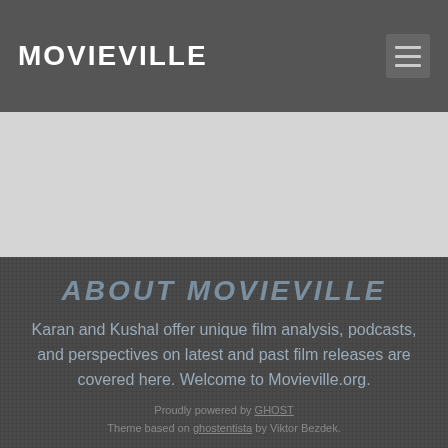MOVIEVILLE
ABOUT MOVIEVILLE
Karan and Kushal offer unique film analysis, podcasts, and perspectives on latest and past film releases are covered here. Welcome to Movieeville.org.
Proudly powered by GHOST
Theme based on ghostentista by Viktor Bezdek.